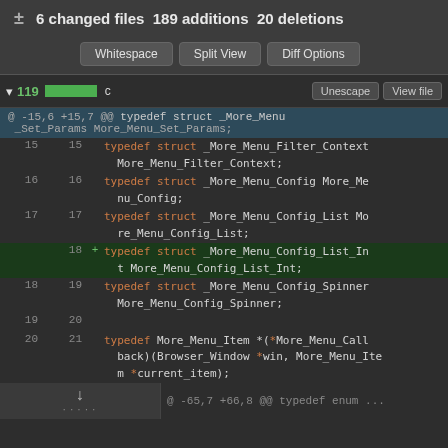± 6 changed files  189 additions  20 deletions
[Figure (screenshot): GitHub diff view with Whitespace, Split View, Diff Options buttons and code diff showing typedef struct additions in C file]
@ -15,6 +15,7 @@ typedef struct _More_Menu_Set_Params More_Menu_Set_Params;
15  15   typedef struct _More_Menu_Filter_Context More_Menu_Filter_Context;
16  16   typedef struct _More_Menu_Config More_Menu_Config;
17  17   typedef struct _More_Menu_Config_List More_Menu_Config_List;
18  +  typedef struct _More_Menu_Config_List_Int More_Menu_Config_List_Int;
18  19   typedef struct _More_Menu_Config_Spinner More_Menu_Config_Spinner;
19  20
20  21   typedef More_Menu_Item *(*More_Menu_Callback)(Browser_Window *win, More_Menu_Item *current_item);